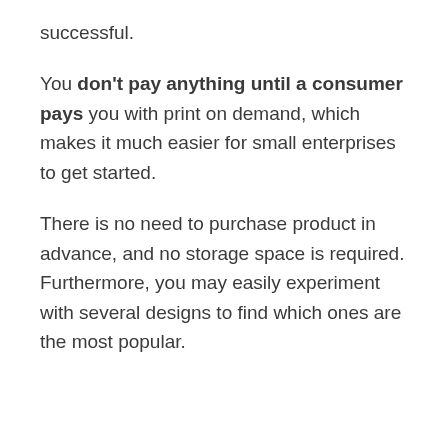successful.
You don't pay anything until a consumer pays you with print on demand, which makes it much easier for small enterprises to get started.
There is no need to purchase product in advance, and no storage space is required. Furthermore, you may easily experiment with several designs to find which ones are the most popular.